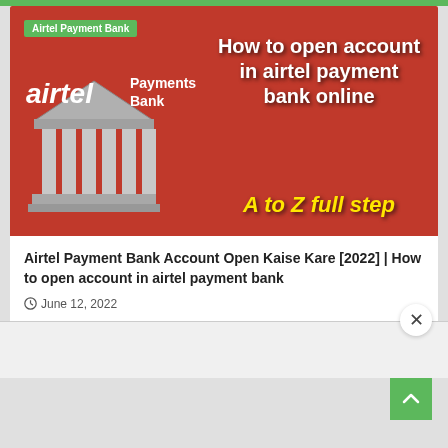[Figure (screenshot): Airtel Payment Bank promotional thumbnail image on red background showing bank building icon on left, 'airtel Payments Bank' branding, and large white text 'How to open account in airtel payment bank online' with yellow italic text 'A to Z full step'. Green tag labeled 'Airtel Payment Bank' in top left corner.]
Airtel Payment Bank Account Open Kaise Kare [2022] | How to open account in airtel payment bank
June 12, 2022